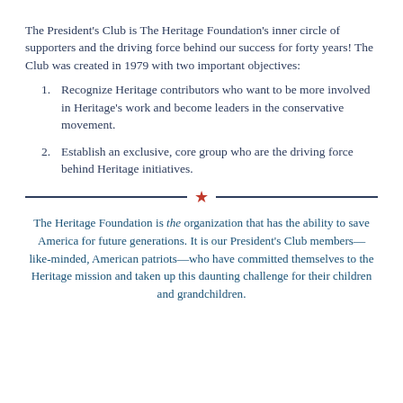The President's Club is The Heritage Foundation's inner circle of supporters and the driving force behind our success for forty years!  The Club was created in 1979 with two important objectives:
Recognize Heritage contributors who want to be more involved in Heritage's work and become leaders in the conservative movement.
Establish an exclusive, core group who are the driving force behind Heritage initiatives.
The Heritage Foundation is the organization that has the ability to save America for future generations.  It is our President's Club members—like-minded, American patriots—who have committed themselves to the Heritage mission and taken up this daunting challenge for their children and grandchildren.